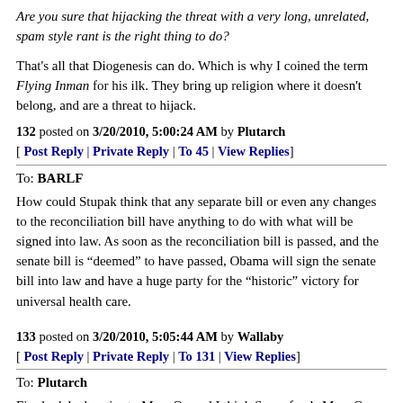Are you sure that hijacking the threat with a very long, unrelated, spam style rant is the right thing to do?
That's all that Diogenesis can do. Which is why I coined the term Flying Inman for his ilk. They bring up religion where it doesn't belong, and are a threat to hijack.
132 posted on 3/20/2010, 5:00:24 AM by Plutarch
[ Post Reply | Private Reply | To 45 | View Replies]
To: BARLF
How could Stupak think that any separate bill or even any changes to the reconciliation bill have anything to do with what will be signed into law. As soon as the reconciliation bill is passed, and the senate bill is “deemed” to have passed, Obama will sign the senate bill into law and have a huge party for the “historic” victory for universal health care.
133 posted on 3/20/2010, 5:05:44 AM by Wallaby
[ Post Reply | Private Reply | To 131 | View Replies]
To: Plutarch
Firedoglake has ties to MoveOn and I think Soros funds MoveOn.